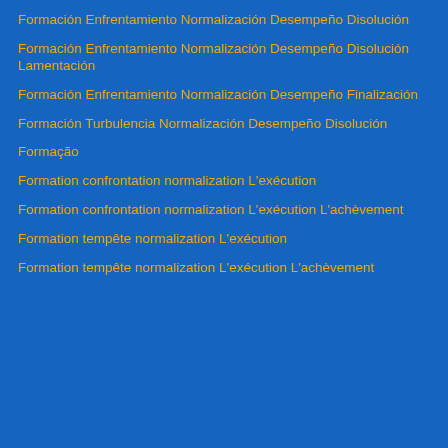Formación Enfrentamiento Normalización Desempeño Disolución
Formación Enfrentamiento Normalización Desempeño Disolución Lamentación
Formación Enfrentamiento Normalización Desempeño Finalización
Formación Turbulencia Normalización Desempeño Disolución
Formação
Formation confrontation normalization L'exécution
Formation confrontation normalization L'exécution L'achèvement
Formation tempête normalization L'exécution
Formation tempête normalization L'exécution L'achèvement